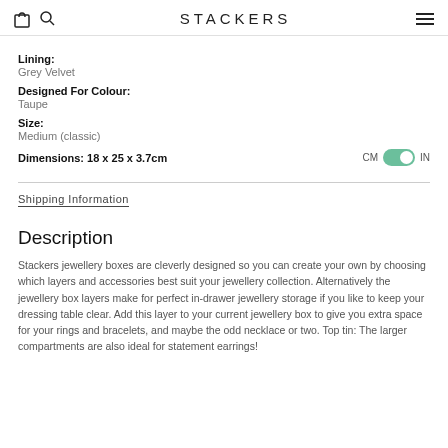STACKERS
Lining:
Grey Velvet
Designed For Colour:
Taupe
Size:
Medium (classic)
Dimensions: 18 x 25 x 3.7cm
Shipping Information
Description
Stackers jewellery boxes are cleverly designed so you can create your own by choosing which layers and accessories best suit your jewellery collection. Alternatively the jewellery box layers make for perfect in-drawer jewellery storage if you like to keep your dressing table clear. Add this layer to your current jewellery box to give you extra space for your rings and bracelets, and maybe the odd necklace or two. Top tin: The larger compartments are also ideal for statement earrings!